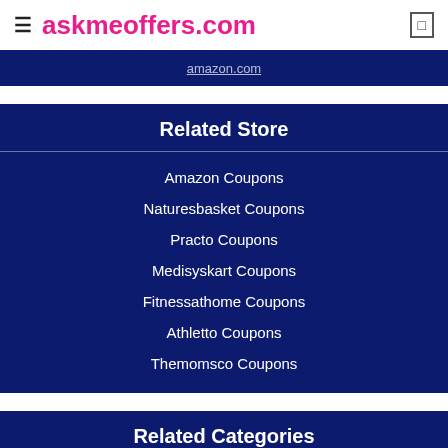askmeoffers.com
amazon.com
Related Store
Amazon Coupons
Naturesbasket Coupons
Practo Coupons
Medisyskart Coupons
Fitnessathome Coupons
Athletto Coupons
Themomsco Coupons
Related Categories